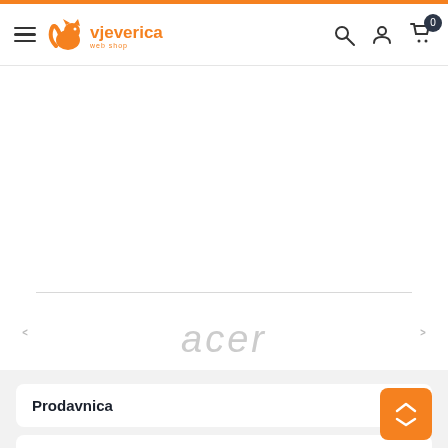[Figure (screenshot): Vjeverica e-commerce website header with orange squirrel logo, hamburger menu, search icon, user icon, and cart icon with badge showing 0]
[Figure (logo): Acer brand logo in light gray, displayed in a brand carousel with left and right navigation arrows]
Prodavnica
Korisnički servis